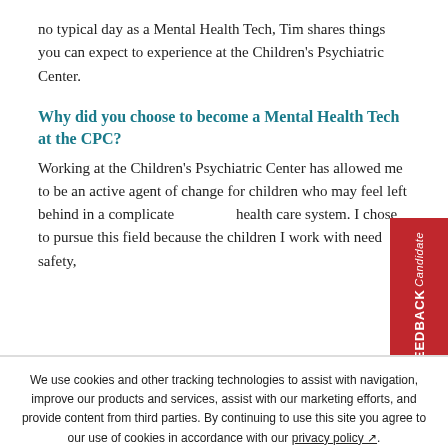no typical day as a Mental Health Tech, Tim shares things you can expect to experience at the Children's Psychiatric Center.
Why did you choose to become a Mental Health Tech at the CPC?
Working at the Children's Psychiatric Center has allowed me to be an active agent of change for children who may feel left behind in a complicated health care system. I chose to pursue this field because the children I work with need safety,
[Figure (other): Red vertical Candidate FEEDBACK tab on the right side of the page]
We use cookies and other tracking technologies to assist with navigation, improve our products and services, assist with our marketing efforts, and provide content from third parties. By continuing to use this site you agree to our use of cookies in accordance with our privacy policy ↗.
Manage third-party cookie preferences here ↗.
Accept